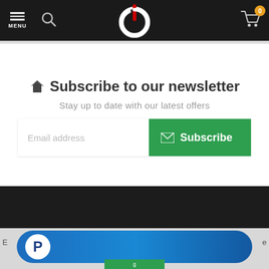MENU | Search | Logo | Cart 0
Subscribe to our newsletter
Stay up to date with our latest offers
[Figure (screenshot): Email address input field and Subscribe button with envelope icon]
[Figure (screenshot): PayPal payment button with blue gradient and PayPal logo]